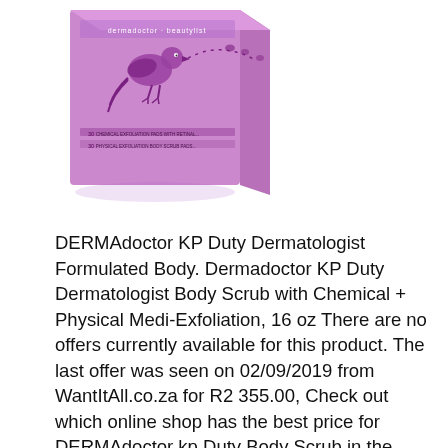[Figure (photo): Product photo of DERMAdoctor KP Duty body scrub packaging — a purple/lilac box with a bird illustration and dotted trail design, showing text listing 30 capsules/items.]
DERMAdoctor KP Duty Dermatologist Formulated Body. Dermadoctor KP Duty Dermatologist Body Scrub with Chemical + Physical Medi-Exfoliation, 16 oz There are no offers currently available for this product. The last offer was seen on 02/09/2019 from WantItAll.co.za for R2 355.00, Check out which online shop has the best price for DERMAdoctor kp Duty Body Scrub in the UAE. Compare prices for hundreds of Skincare hassle-free and save money..